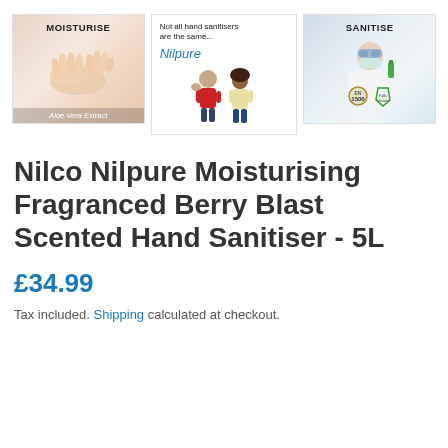[Figure (photo): Three product images side by side: left shows hands with 'MOISTURISE' label and 'Aloe Vera Extract' caption; center shows Nilpure branding with text 'Not all hand sanitisers are the same...' and two children; right shows a scientist in mask with 'SANITISE' label and certification badges.]
Nilco Nilpure Moisturising Fragranced Berry Blast Scented Hand Sanitiser - 5L
£34.99
Tax included. Shipping calculated at checkout.